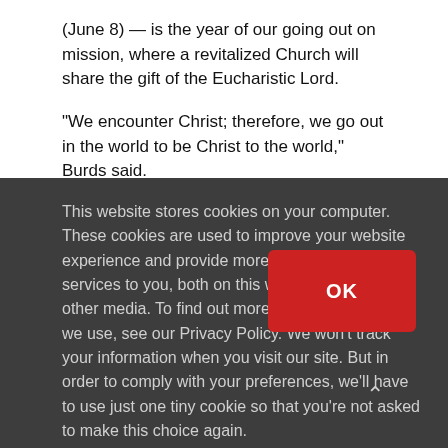(June 8) — is the year of our going out on mission, where a revitalized Church will share the gift of the Eucharistic Lord.
“We encounter Christ; therefore, we go out in the world to be Christ to the world,” Burds said.
This website stores cookies on your computer. These cookies are used to improve your website experience and provide more personalized services to you, both on this website and through other media. To find out more about the cookies we use, see our Privacy Policy. We won't track your information when you visit our site. But in order to comply with your preferences, we'll have to use just one tiny cookie so that you're not asked to make this choice again.